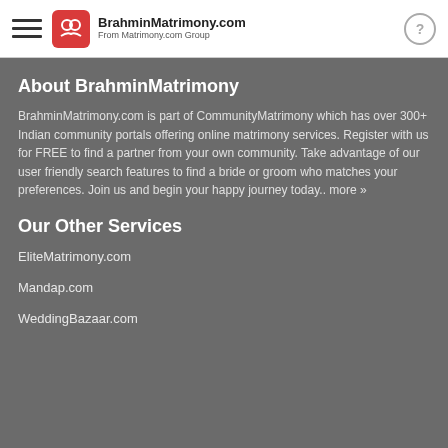BrahminMatrimony.com — From Matrimony.com Group
About BrahminMatrimony
BrahminMatrimony.com is part of CommunityMatrimony which has over 300+ Indian community portals offering online matrimony services. Register with us for FREE to find a partner from your own community. Take advantage of our user friendly search features to find a bride or groom who matches your preferences. Join us and begin your happy journey today.. more »
Our Other Services
EliteMatrimony.com
Mandap.com
WeddingBazaar.com